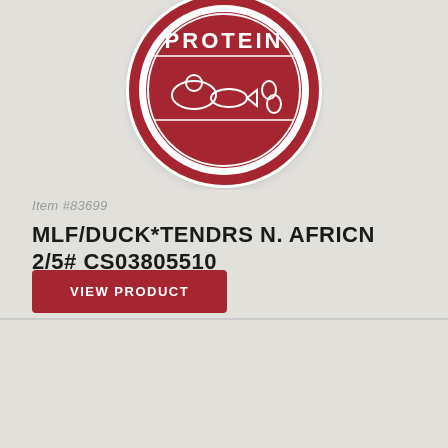[Figure (logo): Circular red and white protein brand logo with text PROTEIN and animal illustrations (fish, chicken, eggs)]
Item #83699
MLF/DUCK*TENDRS N. AFRICN 2/5# CS03805510
VIEW PRODUCT
[Figure (logo): Circular red and white Piazza brand logo, partially visible at bottom of page]